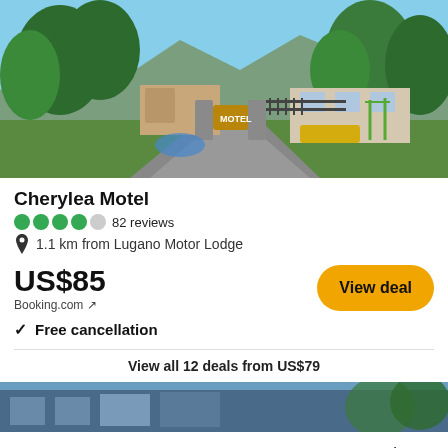[Figure (photo): Exterior photo of Cherylea Motel showing driveway entrance, stone gate pillars with motel sign, green lawn, trees, and parking area on a sunny day]
Cherylea Motel
4 circles (green) out of 5, 82 reviews
1.1 km from Lugano Motor Lodge
US$85
Booking.com ↗
View deal
✓ Free cancellation
View all 12 deals from US$79
[Figure (photo): Partial exterior photo of another property (bottom card), showing building facade with blue and grey tones]
Booking.com ↗
US$92
View deal